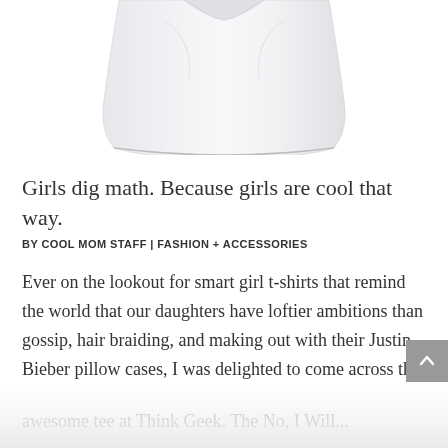[Figure (photo): Bottom portion of a white girl's t-shirt on a white background]
Girls dig math. Because girls are cool that way.
BY COOL MOM STAFF | FASHION + ACCESSORIES
Ever on the lookout for smart girl t-shirts that remind the world that our daughters have loftier ambitions than gossip, hair braiding, and making out with their Justin Bieber pillow cases, I was delighted to come across this awesome tee at Think Geek. The No, I Will...